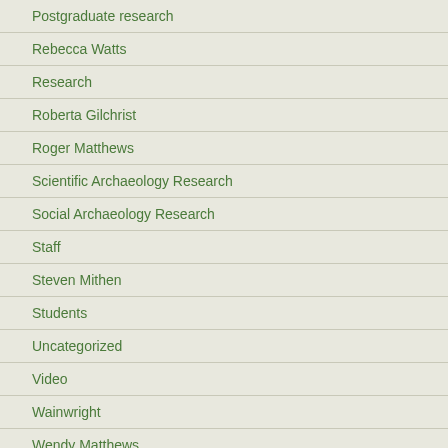Postgraduate research
Rebecca Watts
Research
Roberta Gilchrist
Roger Matthews
Scientific Archaeology Research
Social Archaeology Research
Staff
Steven Mithen
Students
Uncategorized
Video
Wainwright
Wendy Matthews